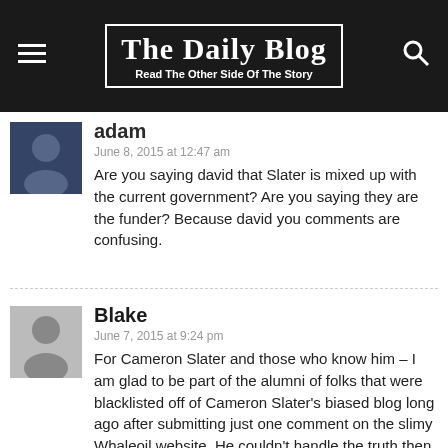The Daily Blog — Read The Other Side Of The Story
adam
June 8, 2015 at 12:47 am
Are you saying david that Slater is mixed up with the current government? Are you saying they are the funder? Because david you comments are confusing.
Blake
June 7, 2015 at 9:24 pm
For Cameron Slater and those who know him – I am glad to be part of the alumni of folks that were blacklisted off of Cameron Slater's biased blog long ago after submitting just one comment on the slimy Whaleoil website. He couldn't handle the truth then as well as now. I agree, he seems to be a tragic character doomed to be his own worst enemy.
I tend to, also, feel that this man is mentally and emotionally severely unbalanced and needs help